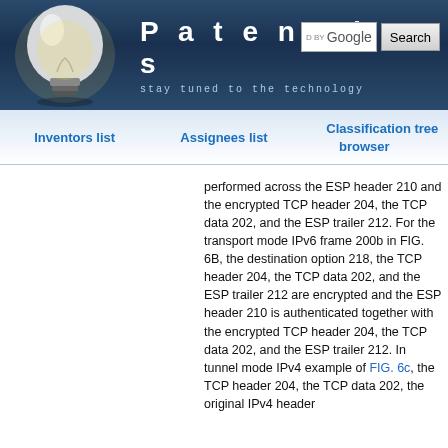Patentdocs — stay tuned to the technology
Inventors list
Assignees list
Classification tree browser
performed across the ESP header 210 and the encrypted TCP header 204, the TCP data 202, and the ESP trailer 212. For the transport mode IPv6 frame 200b in FIG. 6B, the destination option 218, the TCP header 204, the TCP data 202, and the ESP trailer 212 are encrypted and the ESP header 210 is authenticated together with the encrypted TCP header 204, the TCP data 202, and the ESP trailer 212. In tunnel mode IPv4 example of FIG. 6c, the TCP header 204, the TCP data 202, the original IPv4 header